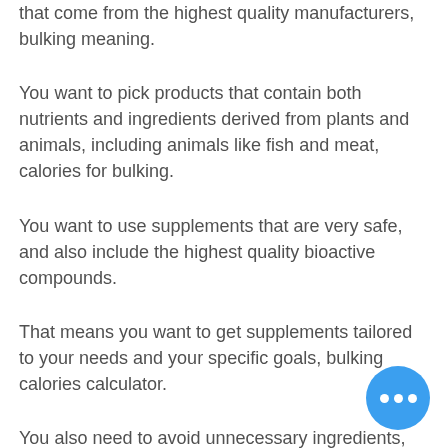that come from the highest quality manufacturers, bulking meaning.
You want to pick products that contain both nutrients and ingredients derived from plants and animals, including animals like fish and meat, calories for bulking.
You want to use supplements that are very safe, and also include the highest quality bioactive compounds.
That means you want to get supplements tailored to your needs and your specific goals, bulking calories calculator.
You also need to avoid unnecessary ingredients, like sugars, in any supplements. These sugars have a negative impact on your gut microbiome and digestive health, and can wreak havoc on metabolic health,